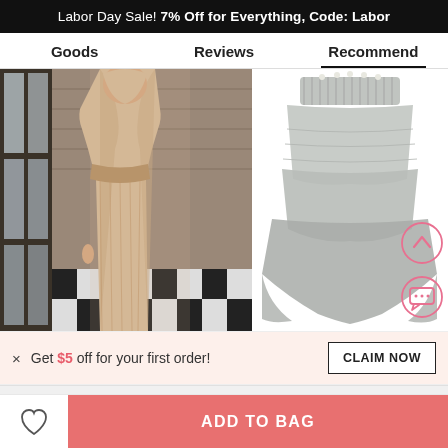Labor Day Sale! 7% Off for Everything, Code: Labor
Goods | Reviews | Recommend
[Figure (photo): Woman wearing a flowing champagne/beige wrap dress standing near large windows with checkerboard floor]
[Figure (photo): Gray chiffon high-low layered skirt/dress on white background]
× Get $5 off for your first order!
CLAIM NOW
ADD TO BAG